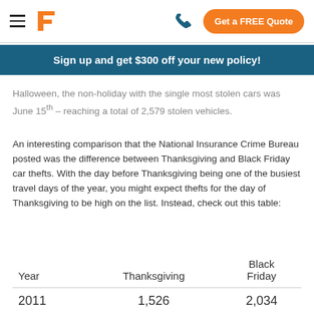Get a FREE Quote
Sign up and get $300 off your new policy!
Halloween, the non-holiday with the single most stolen cars was June 15th – reaching a total of 2,579 stolen vehicles.
An interesting comparison that the National Insurance Crime Bureau posted was the difference between Thanksgiving and Black Friday car thefts. With the day before Thanksgiving being one of the busiest travel days of the year, you might expect thefts for the day of Thanksgiving to be high on the list. Instead, check out this table:
| Year | Thanksgiving | Black Friday |
| --- | --- | --- |
| 2011 | 1,526 | 2,034 |